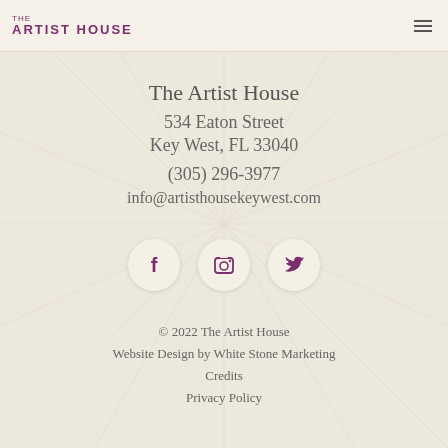THE ARTIST HOUSE
The Artist House
534 Eaton Street
Key West, FL 33040
(305) 296-3977
info@artisthousekeywest.com
[Figure (infographic): Three social media icon buttons in circles: Facebook (f), Instagram (camera), Twitter (bird)]
© 2022 The Artist House
Website Design by White Stone Marketing
Credits
Privacy Policy